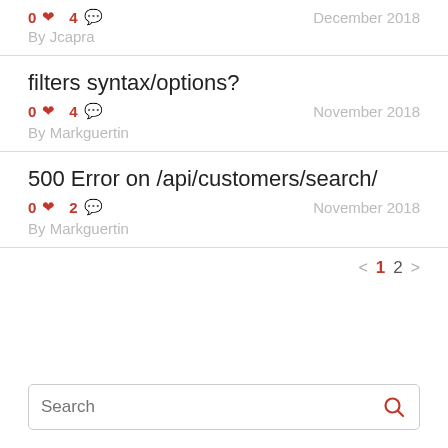0 ♥ 4 💬   December 2018
By Jcapra
filters syntax/options?
0 ♥ 4 💬   November 2018
By Markguertin
500 Error on /api/customers/search/
0 ♥ 2 💬   November 2018
By Markguertin
< 1 2 >
Search